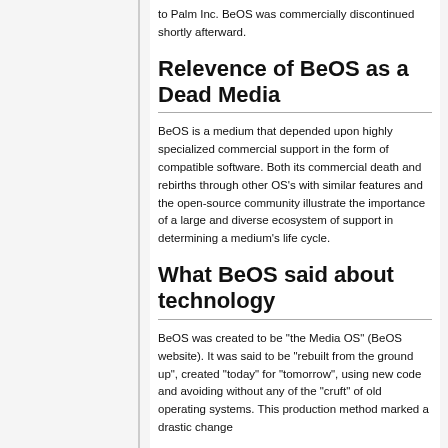to Palm Inc. BeOS was commercially discontinued shortly afterward.
Relevence of BeOS as a Dead Media
BeOS is a medium that depended upon highly specialized commercial support in the form of compatible software. Both its commercial death and rebirths through other OS's with similar features and the open-source community illustrate the importance of a large and diverse ecosystem of support in determining a medium's life cycle.
What BeOS said about technology
BeOS was created to be "the Media OS" (BeOS website). It was said to be "rebuilt from the ground up", created "today" for "tomorrow", using new code and avoiding without any of the "cruft" of old operating systems. This production method marked a drastic change